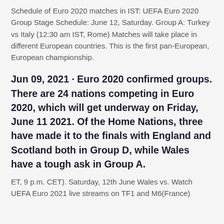Schedule of Euro 2020 matches in IST: UEFA Euro 2020 Group Stage Schedule: June 12, Saturday. Group A: Turkey vs Italy (12:30 am IST, Rome) Matches will take place in different European countries. This is the first pan-European, European championship.
Jun 09, 2021 · Euro 2020 confirmed groups. There are 24 nations competing in Euro 2020, which will get underway on Friday, June 11 2021. Of the Home Nations, three have made it to the finals with England and Scotland both in Group D, while Wales have a tough ask in Group A.
ET, 9 p.m. CET). Saturday, 12th June Wales vs. Watch UEFA Euro 2021 live streams on TF1 and M6(France)